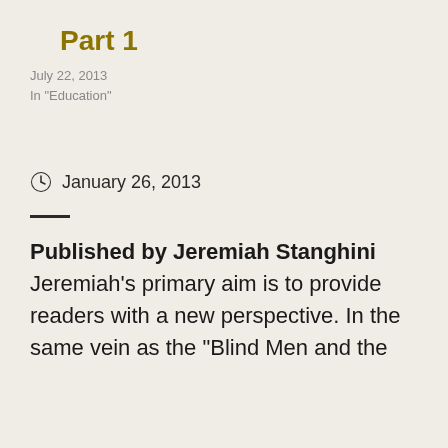Part 1
July 22, 2013
In "Education"
January 26, 2013
Published by Jeremiah Stanghini Jeremiah's primary aim is to provide readers with a new perspective. In the same vein as the "Blind Men and the